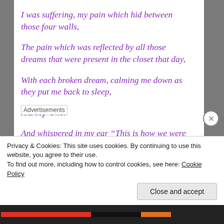I was suffering, my pain which hid between those four walls,
The pain which was reflected by all those dreams that were present in the closet that day,
With each broken dream, calming me down as they put me back to sleep,
A Deep One.
And whispered in my ear “This is how we were destined to end, unfortunately, it’s too late for you too, you don’t
Advertisements
Privacy & Cookies: This site uses cookies. By continuing to use this website, you agree to their use.
To find out more, including how to control cookies, see here: Cookie Policy
Close and accept